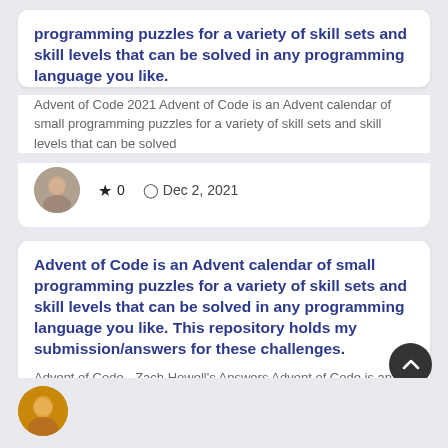programming puzzles for a variety of skill sets and skill levels that can be solved in any programming language you like.
Advent of Code 2021 Advent of Code is an Advent calendar of small programming puzzles for a variety of skill sets and skill levels that can be solved
★ 0   Dec 2, 2021
Advent of Code is an Advent calendar of small programming puzzles for a variety of skill sets and skill levels that can be solved in any programming language you like. This repository holds my submission/answers for these challenges.
Advent of Code - Zach Howell's Answers Advent of Code is an Advent calendar of small programming puzzles for a variety of skill sets and skill levels